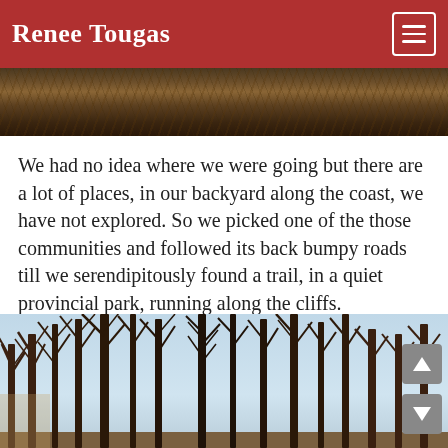Renee Tougas
[Figure (photo): Top partial photo showing autumn leaves and forest floor in dark brown tones, partially cropped at top of page.]
We had no idea where we were going but there are a lot of places, in our backyard along the coast, we have not explored. So we picked one of the those communities and followed its back bumpy roads till we serendipitously found a trail, in a quiet provincial park, running along the cliffs.
[Figure (photo): Photo of bare winter trees with dark silhouetted trunks and branches against a pale blue-grey sky.]